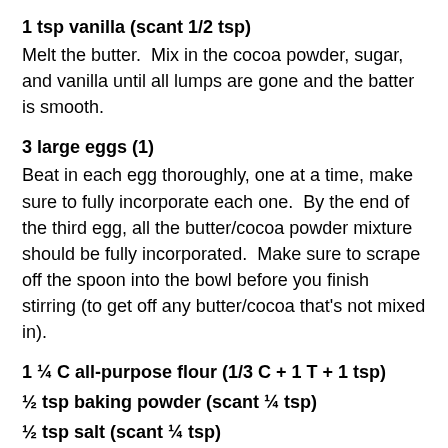1 tsp vanilla (scant 1/2 tsp)
Melt the butter.  Mix in the cocoa powder, sugar, and vanilla until all lumps are gone and the batter is smooth.
3 large eggs (1)
Beat in each egg thoroughly, one at a time, make sure to fully incorporate each one.  By the end of the third egg, all the butter/cocoa powder mixture should be fully incorporated.  Make sure to scrape off the spoon into the bowl before you finish stirring (to get off any butter/cocoa that's not mixed in).
1 ¼ C all-purpose flour (1/3 C + 1 T + 1 tsp)
½ tsp baking powder (scant ¼ tsp)
½ tsp salt (scant ¼ tsp)
Add the flour, baking powder, and salt.  Mix until just combined.